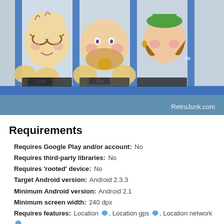[Figure (photo): Screenshot of a retro cartoon/game show with animated characters including 'Tom' and others waving hands, with a RetroJunk.com watermark in the lower right corner.]
Requirements
Requires Google Play and/or account:  No
Requires third-party libraries:  No
Requires 'rooted' device:  No
Target Android version:  Android 2.3.3
Minimum Android version:  Android 2.1
Minimum screen width:  240 dpx
Requires features:  Location, Location gps, Location network, Wifi, Touchscreen, Screen portrait